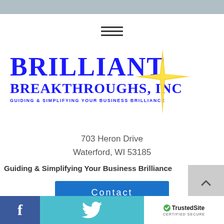[Figure (logo): Brilliant Breakthroughs, Inc. logo with blue bold text and yellow star graphic. Tagline: GUIDING & SIMPLIFYING YOUR BUSINESS BRILLIANCE]
703 Heron Drive
Waterford, WI 53185
Guiding & Simplifying Your Business Brilliance
Contact
[Figure (infographic): Bottom bar with Facebook icon, Twitter bird icon, and TrustedSite CERTIFIED SECURE badge]